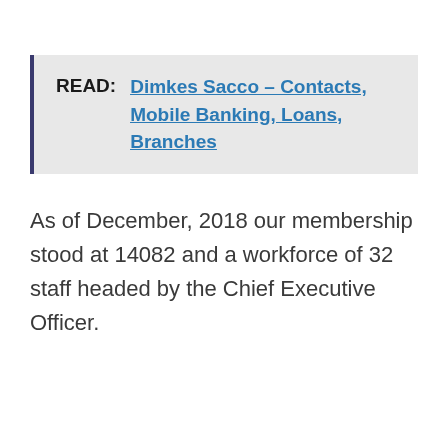READ:   Dimkes Sacco – Contacts, Mobile Banking, Loans, Branches
As of December, 2018 our membership stood at 14082 and a workforce of 32 staff headed by the Chief Executive Officer.